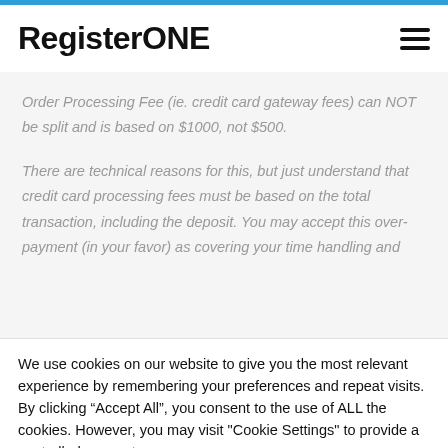RegisterONE
Order Processing Fee (ie. credit card gateway fees) can NOT be split and is based on $1000, not $500.
There are technical reasons for this, but just understand that credit card processing fees must be based on the total transaction, including the deposit. You may accept this over-payment (in your favor) as covering your time handling and
We use cookies on our website to give you the most relevant experience by remembering your preferences and repeat visits. By clicking “Accept All”, you consent to the use of ALL the cookies. However, you may visit "Cookie Settings" to provide a controlled consent.
Cookie Settings | Accept All